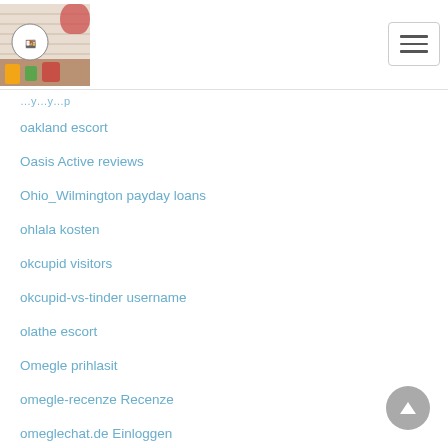Site logo and navigation menu
oakland escort
Oasis Active reviews
Ohio_Wilmington payday loans
ohlala kosten
okcupid visitors
okcupid-vs-tinder username
olathe escort
Omegle prihlasit
omegle-recenze Recenze
omeglechat.de Einloggen